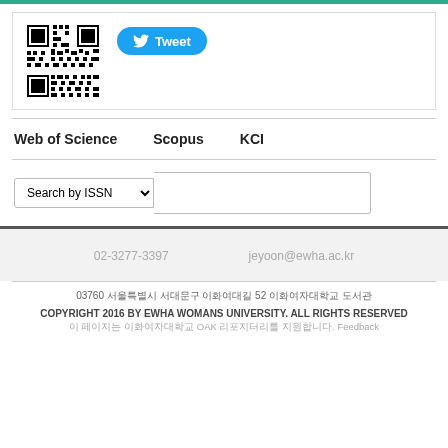[Figure (other): QR code and Tweet button inside a bordered box]
Web of Science   Scopus   KCI
Search by ISSN (dropdown) with text input field
02-3277-3397   jeyoon@ewha.ac.kr
03760 [Korean address] 52 [Korean text]
COPYRIGHT 2016 BY EWHA WOMANS UNIVERSITY. ALL RIGHTS RESERVED
[Korean text] OAK [Korean text]. Feedback